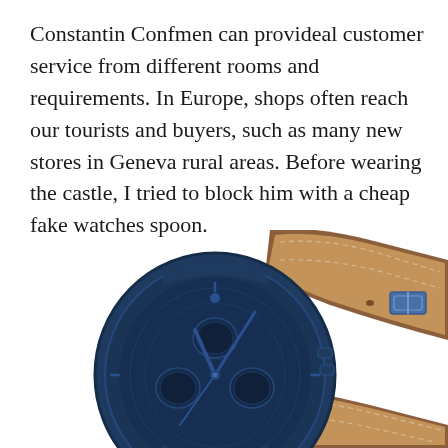Constantin Confmen can provideal customer service from different rooms and requirements. In Europe, shops often reach our tourists and buyers, such as many new stores in Geneva rural areas. Before wearing the castle, I tried to block him with a cheap fake watches spoon.
[Figure (photo): A blue chronograph watch with a tan/brown leather strap, shown at an angle. The watch face is dark navy blue with subdials, and the leather strap has visible stitching and a buckle.]